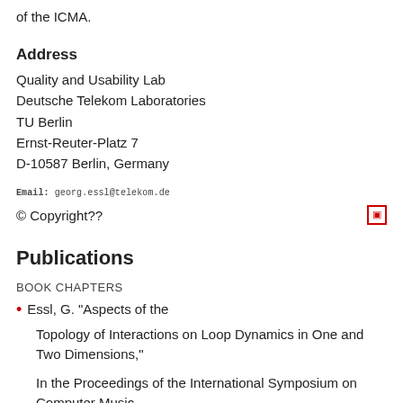of the ICMA.
Address
Quality and Usability Lab
Deutsche Telekom Laboratories
TU Berlin
Ernst-Reuter-Platz 7
D-10587 Berlin, Germany
Email: georg.essl@telekom.de
© Copyright??
Publications
BOOK CHAPTERS
Essl, G. "Aspects of the Topology of Interactions on Loop Dynamics in One and Two Dimensions,"
In the Proceedings of the International Symposium on Computer Music
Modeling and Retrieval 2004, Esbjerg, Denmark, Lecture